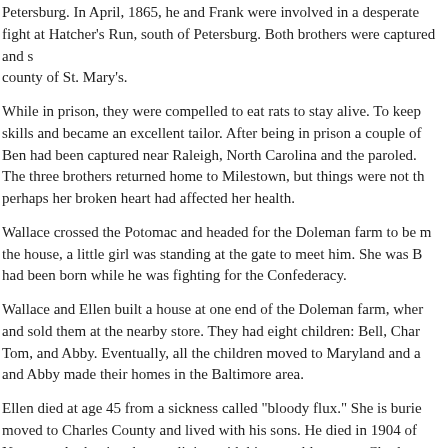Petersburg. In April, 1865, he and Frank were involved in a desperate fight at Hatcher's Run, south of Petersburg. Both brothers were captured and sent to the county of St. Mary's.
While in prison, they were compelled to eat rats to stay alive. To keep busy he learned skills and became an excellent tailor. After being in prison a couple of months he learned Ben had been captured near Raleigh, North Carolina and the paroled. The three brothers returned home to Milestown, but things were not the same. Their mother, perhaps her broken heart had affected her health.
Wallace crossed the Potomac and headed for the Doleman farm to be married. As he reached the house, a little girl was standing at the gate to meet him. She was Bell, his daughter who had been born while he was fighting for the Confederacy.
Wallace and Ellen built a house at one end of the Doleman farm, where he raised vegetables and sold them at the nearby store. They had eight children: Bell, Charles, Frank, Lula, George, Tom, and Abby. Eventually, all the children moved to Maryland and all but one, Bell, Charles, and Abby made their homes in the Baltimore area.
Ellen died at age 45 from a sickness called "bloody flux." She is buried at Newport. Wallace moved to Charles County and lived with his sons. He died in 1904 of cancer and is buried at Newport. At the time he was living with his two oldest sons, Charles and Frank, in an area called "Charlesborough Hills."
Contact Us